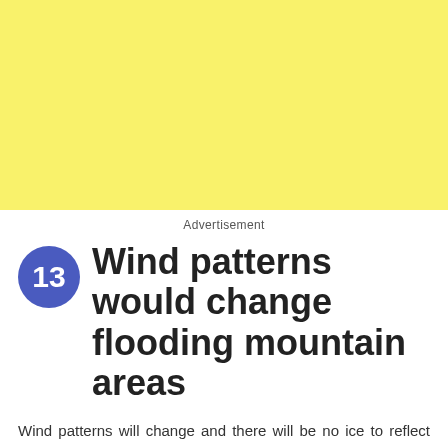[Figure (other): Yellow/cream colored rectangular background block used as advertisement space]
Advertisement
13 Wind patterns would change flooding mountain areas
Wind patterns will change and there will be no ice to reflect the sun's rays. The sun will start drying oceans and drawing more